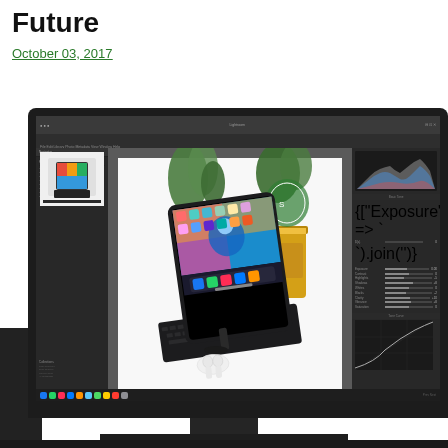Future
October 03, 2017
[Figure (photo): A desktop monitor displaying Adobe Lightroom with an iPad Pro and Smart Keyboard photo open, alongside a second partial monitor on the left. The Lightroom interface shows library/develop modules, a left panel with thumbnails, center photo area, and right adjustment panel with histogram and sliders. The main photo shows an iPad Pro with Smart Keyboard and AirPods against a white background with plants and a jar.]